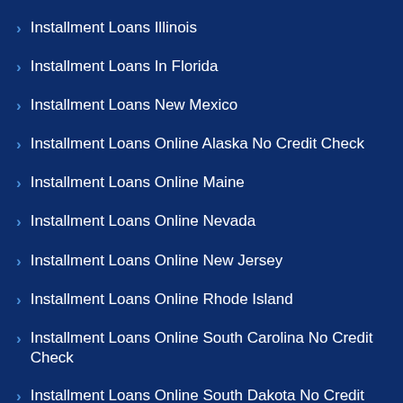Installment Loans Illinois
Installment Loans In Florida
Installment Loans New Mexico
Installment Loans Online Alaska No Credit Check
Installment Loans Online Maine
Installment Loans Online Nevada
Installment Loans Online New Jersey
Installment Loans Online Rhode Island
Installment Loans Online South Carolina No Credit Check
Installment Loans Online South Dakota No Credit Check
Installment Loans Washington
Installment Loans Wyoming